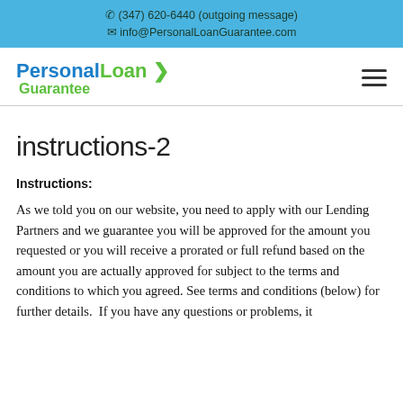☎ (347) 620-6440 (outgoing message)
✉ info@PersonalLoanGuarantee.com
[Figure (logo): PersonalLoan Guarantee logo with blue and green text and chevron]
instructions-2
Instructions:
As we told you on our website, you need to apply with our Lending Partners and we guarantee you will be approved for the amount you requested or you will receive a prorated or full refund based on the amount you are actually approved for subject to the terms and conditions to which you agreed. See terms and conditions (below) for further details.  If you have any questions or problems, it